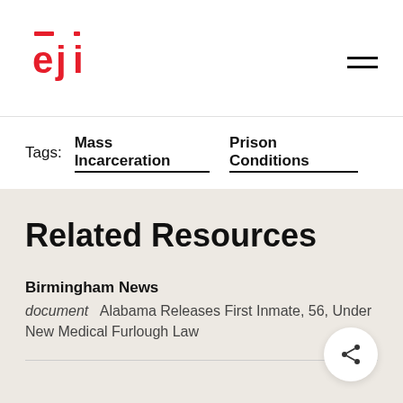EJI
Tags: Mass Incarceration  Prison Conditions
Related Resources
Birmingham News
document  Alabama Releases First Inmate, 56, Under New Medical Furlough Law